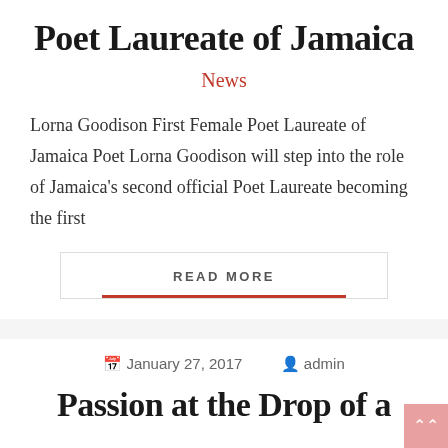Poet Laureate of Jamaica
News
Lorna Goodison First Female Poet Laureate of Jamaica Poet Lorna Goodison will step into the role of Jamaica’s second official Poet Laureate becoming the first
READ MORE
January 27, 2017   admin
Passion at the Drop of a